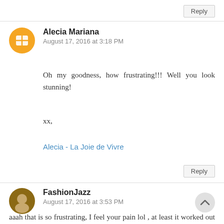Reply
Alecia Mariana
August 17, 2016 at 3:18 PM
Oh my goodness, how frustrating!!! Well you look stunning!
xx,
Alecia - La Joie de Vivre
Reply
FashionJazz
August 17, 2016 at 3:53 PM
aaah that is so frustrating, I feel your pain lol , at least it worked out and we got to see your fab outfit, love the